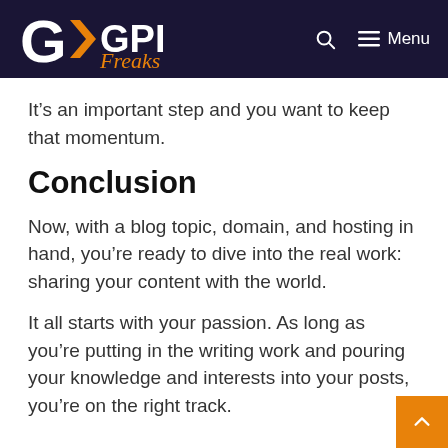GPI Freaks — Menu
It’s an important step and you want to keep that momentum.
Conclusion
Now, with a blog topic, domain, and hosting in hand, you’re ready to dive into the real work: sharing your content with the world.
It all starts with your passion. As long as you’re putting in the writing work and pouring your knowledge and interests into your posts, you’re on the right track.